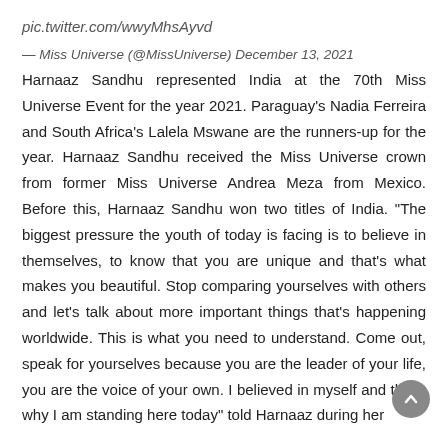pic.twitter.com/wwyMhsAyvd
— Miss Universe (@MissUniverse) December 13, 2021
Harnaaz Sandhu represented India at the 70th Miss Universe Event for the year 2021. Paraguay's Nadia Ferreira and South Africa's Lalela Mswane are the runners-up for the year. Harnaaz Sandhu received the Miss Universe crown from former Miss Universe Andrea Meza from Mexico. Before this, Harnaaz Sandhu won two titles of India. "The biggest pressure the youth of today is facing is to believe in themselves, to know that you are unique and that's what makes you beautiful. Stop comparing yourselves with others and let's talk about more important things that's happening worldwide. This is what you need to understand. Come out, speak for yourselves because you are the leader of your life, you are the voice of your own. I believed in myself and that's why I am standing here today" told Harnaaz during her